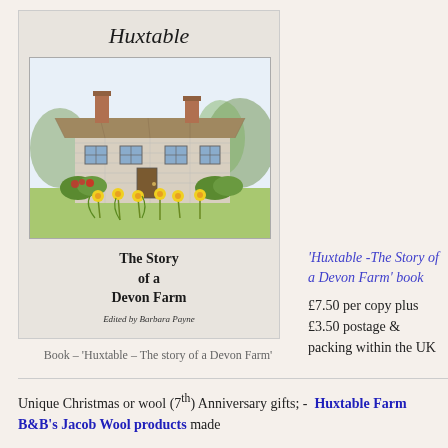[Figure (illustration): Book cover of 'Huxtable – The Story of a Devon Farm', showing an illustration of a stone farmhouse with chimneys, flowers and garden in the foreground, surrounded by vegetation. Title 'Huxtable' in italic script at the top, subtitle 'The Story of a Devon Farm' in bold serif below the illustration, and 'Edited by Barbara Payne' at the bottom.]
Book – 'Huxtable – The story of a Devon Farm'
'Huxtable -The Story of a Devon Farm' book
£7.50 per copy plus £3.50 postage & packing within the UK
Unique Christmas or wool (7th) Anniversary gifts;-  Huxtable Farm B&B's Jacob Wool products made